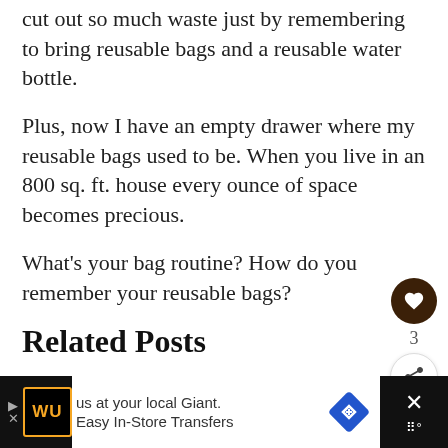cut out so much waste just by remembering to bring reusable bags and a reusable water bottle.
Plus, now I have an empty drawer where my reusable bags used to be. When you live in an 800 sq. ft. house every ounce of space becomes precious.
What's your bag routine? How do you remember your reusable bags?
Related Posts
[Figure (screenshot): Advertisement banner at bottom: Western Union ad with WU logo, navigation arrow icon, text 'us at your local Giant. Easy In-Store Transfers', and a close button.]